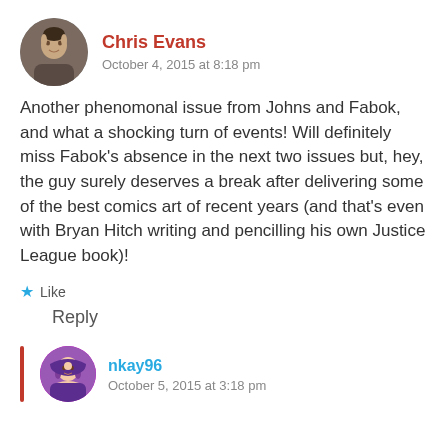[Figure (photo): Round avatar photo of Chris Evans, a man with short hair and beard]
Chris Evans
October 4, 2015 at 8:18 pm
Another phenomonal issue from Johns and Fabok, and what a shocking turn of events! Will definitely miss Fabok’s absence in the next two issues but, hey, the guy surely deserves a break after delivering some of the best comics art of recent years (and that’s even with Bryan Hitch writing and pencilling his own Justice League book)!
★ Like
Reply
[Figure (photo): Round avatar photo of nkay96, a woman with blue/purple hair]
nkay96
October 5, 2015 at 3:18 pm